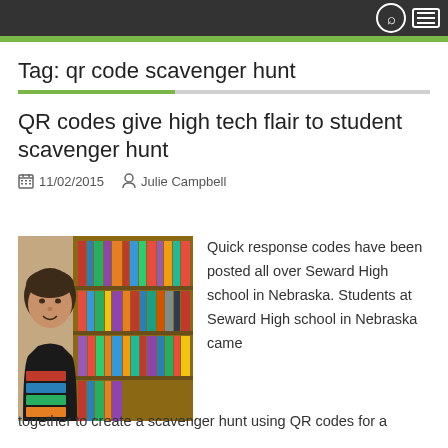Navigation bar with search and menu icons
Tag: qr code scavenger hunt
QR codes give high tech flair to student scavenger hunt
11/02/2015   Julie Campbell
[Figure (photo): Woman holding books in a library with bookshelves in background]
Quick response codes have been posted all over Seward High school in Nebraska. Students at Seward High school in Nebraska came together to create a scavenger hunt using QR codes for a